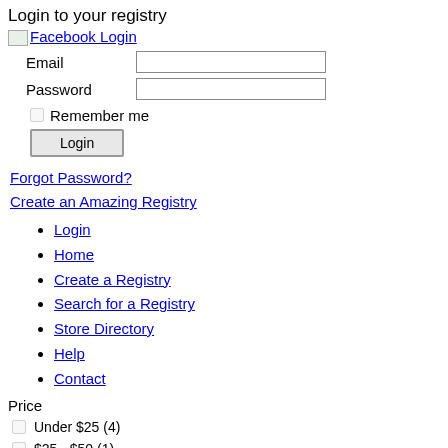Login to your registry
Facebook Login
Email [input field]
Password [input field]
Remember me [checkbox]
Login [button]
Forgot Password?
Create an Amazing Registry
Login
Home
Create a Registry
Search for a Registry
Store Directory
Help
Contact
Price
Under $25 (4)
$25 - $50 (1)
$50 - $100 (4)
$100 - $200 (1)